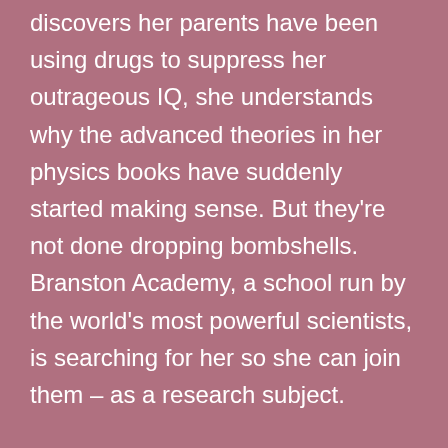discovers her parents have been using drugs to suppress her outrageous IQ, she understands why the advanced theories in her physics books have suddenly started making sense. But they're not done dropping bombshells. Branston Academy, a school run by the world's most powerful scientists, is searching for her so she can join them – as a research subject.

Her only safe haven is Quantum Technologies, a secret scientific community where her father works as a lead scientist. Now Lexie must prove herself at QT's school-for-